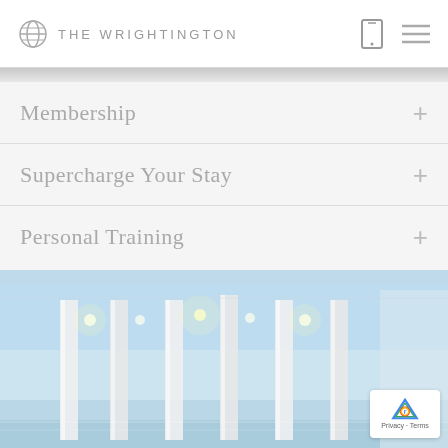THE WRIGHTINGTON
Membership
Supercharge Your Stay
Personal Training
[Figure (photo): Interior photo of a swimming pool area with white columns, bright lighting, and a light blue ceiling, giving a luxurious spa-like atmosphere.]